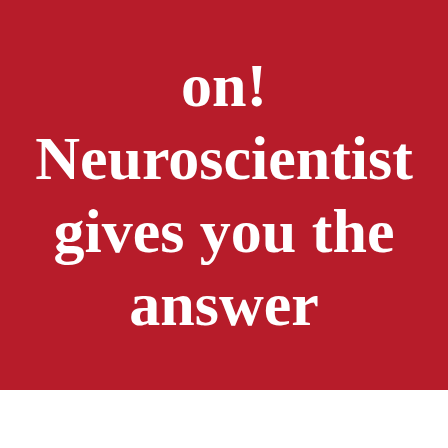on! Neuroscientist gives you the answer